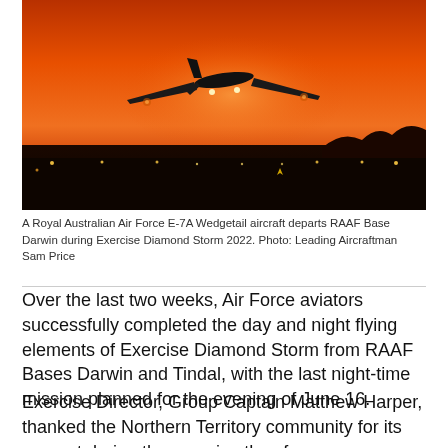[Figure (photo): A military aircraft (Royal Australian Air Force E-7A Wedgetail) silhouetted against a vivid orange-red sunset sky, departing from a runway with runway lights visible in the background.]
A Royal Australian Air Force E-7A Wedgetail aircraft departs RAAF Base Darwin during Exercise Diamond Storm 2022. Photo: Leading Aircraftman Sam Price
Over the last two weeks, Air Force aviators successfully completed the day and night flying elements of Exercise Diamond Storm from RAAF Bases Darwin and Tindal, with the last night-time mission planned for the evening of June 16.
Exercise Director, Group Captain Matthew Harper, thanked the Northern Territory community for its support during the exercise thus far.